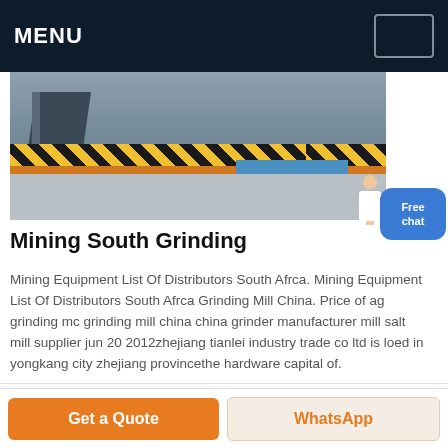MENU
[Figure (photo): Industrial grinding equipment or factory floor with yellow-black safety stripes, metal stairs, and a large machine in a warehouse setting.]
Mining South Grinding
Mining Equipment List Of Distributors South Afrca. Mining Equipment List Of Distributors South Afrca Grinding Mill China. Price of ag grinding mc grinding mill china china grinder manufacturer mill salt mill supplier jun 20 2012zhejiang tianlei industry trade co ltd is loed in yongkang city zhejiang provincethe hardware capital of.
Get Price
Get a Quote
WhatsApp